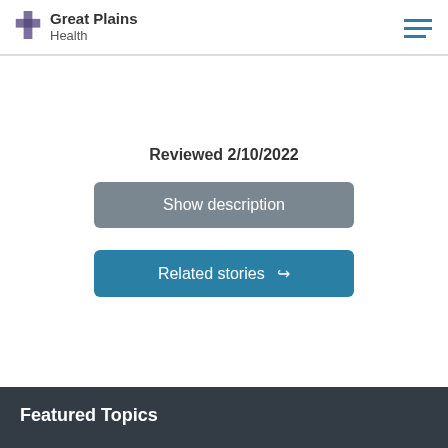[Figure (logo): Great Plains Health logo with purple cross icon and text]
Reviewed 2/10/2022
Show description
Related stories
Featured Topics